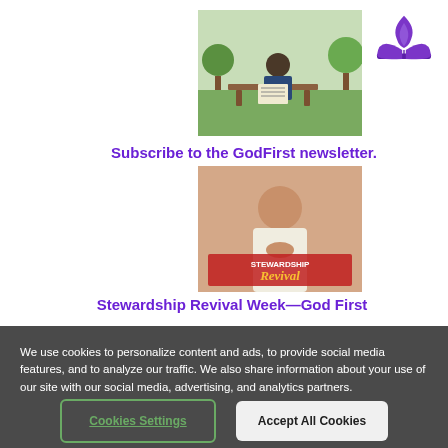[Figure (logo): Seventh-day Adventist Church flame/book logo in purple]
[Figure (photo): Man sitting on bench reading a newspaper outdoors]
Subscribe to the GodFirst newsletter.
[Figure (photo): Woman praying with Stewardship Revival text overlay]
Stewardship Revival Week—God First
We use cookies to personalize content and ads, to provide social media features, and to analyze our traffic. We also share information about your use of our site with our social media, advertising, and analytics partners.
Cookies Settings
Accept All Cookies